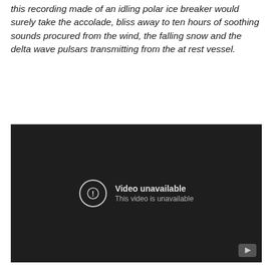this recording made of an idling polar ice breaker would surely take the accolade, bliss away to ten hours of soothing sounds procured from the wind, the falling snow and the delta wave pulsars transmitting from the at rest vessel.
[Figure (screenshot): An embedded video player showing a dark background with a 'Video unavailable' message. An exclamation mark icon in a circle appears to the left, with the text 'Video unavailable' and 'This video is unavailable' to the right. A YouTube play button icon is visible in the bottom-right corner.]